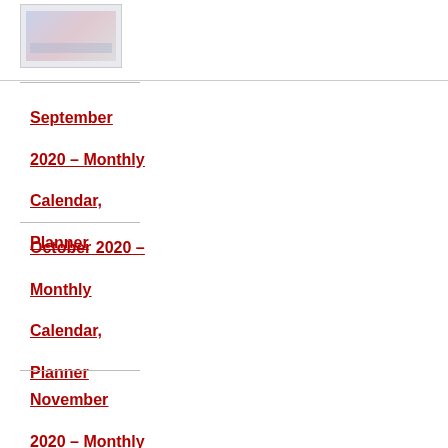[Figure (screenshot): Small thumbnail image of a calendar planner page with pink/blue colors]
September 2020 – Monthly Calendar, Planner
October 2020 – Monthly Calendar, Planner
November 2020 – Monthly Calendar, Planner